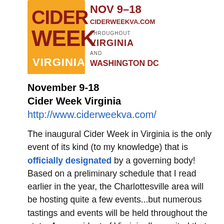[Figure (logo): Cider Week Virginia logo with text: NOV 9-18, CIDERWEEKVA.COM, THROUGHOUT VIRGINIA AND WASHINGTON DC]
November 9-18
Cider Week Virginia
http://www.ciderweekva.com/
The inaugural Cider Week in Virginia is the only event of its kind (to my knowledge) that is officially designated by a governing body! Based on a preliminary schedule that I read earlier in the year, the Charlottesville area will be hosting quite a few events...but numerous tastings and events will be held throughout the state. As a resident of Virginia, I'm excited that we've joined New York, Oregon, and Washington